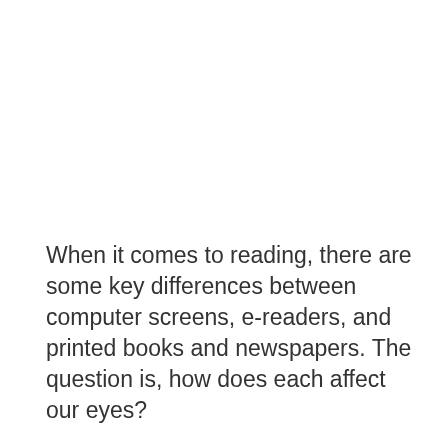When it comes to reading, there are some key differences between computer screens, e-readers, and printed books and newspapers. The question is, how does each affect our eyes?
Reading On A Screen May Make Our Eyes Work Harder